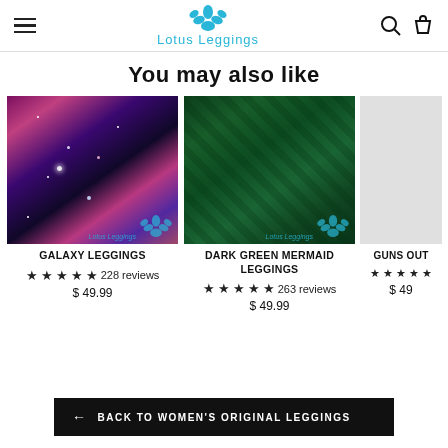Lotus Leggings
You may also like
[Figure (photo): Galaxy print leggings product photo on model]
GALAXY LEGGINGS
★★★★★ 228 reviews
$ 49.99
[Figure (photo): Dark green mermaid print leggings product photo on model]
DARK GREEN MERMAID LEGGINGS
★★★★★ 263 reviews
$ 49.99
[Figure (photo): Partially visible third product (Guns Out leggings)]
GUNS OUT
★★★★★
$ 49
← BACK TO WOMEN'S ORIGINAL LEGGINGS